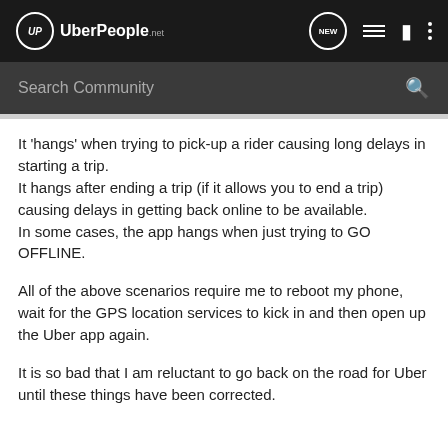UP UberPeople.net
Search Community
It 'hangs' when trying to pick-up a rider causing long delays in starting a trip.
It hangs after ending a trip (if it allows you to end a trip) causing delays in getting back online to be available.
In some cases, the app hangs when just trying to GO OFFLINE.
All of the above scenarios require me to reboot my phone, wait for the GPS location services to kick in and then open up the Uber app again.
It is so bad that I am reluctant to go back on the road for Uber until these things have been corrected.